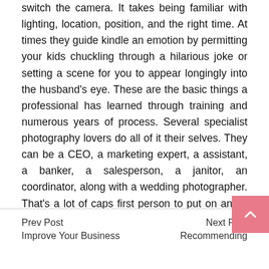switch the camera. It takes being familiar with lighting, location, position, and the right time. At times they guide kindle an emotion by permitting your kids chuckling through a hilarious joke or setting a scene for you to appear longingly into the husband's eye. These are the basic things a professional has learned through training and numerous years of process. Several specialist photography lovers do all of it their selves. They can be a CEO, a marketing expert, a assistant, a banker, a salesperson, a janitor, an coordinator, along with a wedding photographer. That's a lot of caps first person to put on and it requires a great deal of time and energy to do all of these jobs. Particularly if a single person does them by themselves.
Prev Post
Improve Your Business
Next Post
Recommending